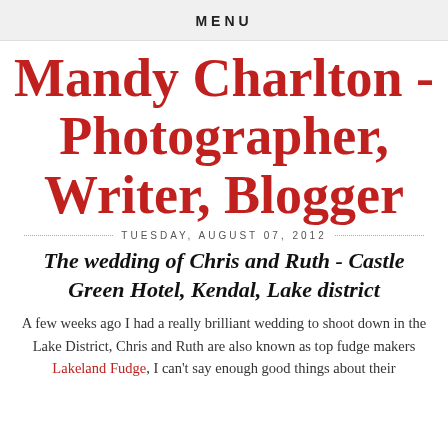MENU
Mandy Charlton - Photographer, Writer, Blogger
TUESDAY, AUGUST 07, 2012
The wedding of Chris and Ruth - Castle Green Hotel, Kendal, Lake district
A few weeks ago I had a really brilliant wedding to shoot down in the Lake District, Chris and Ruth are also known as top fudge makers Lakeland Fudge, I can't say enough good things about their